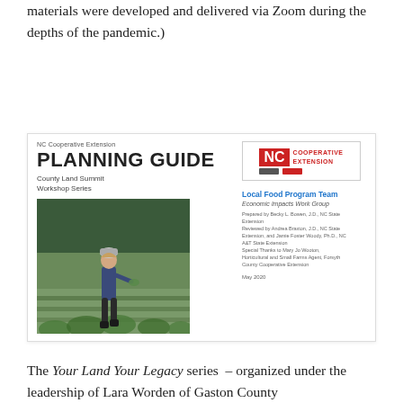materials were developed and delivered via Zoom during the depths of the pandemic.)
[Figure (other): NC Cooperative Extension Planning Guide cover page showing a person walking through a vegetable garden with text 'NC Cooperative Extension PLANNING GUIDE County Land Summit Workshop Series' and NC Cooperative Extension logo. Includes Local Food Program Team section with Economic Impacts Work Group credits. May 2020.]
The Your Land Your Legacy series – organized under the leadership of Lara Worden of Gaston County